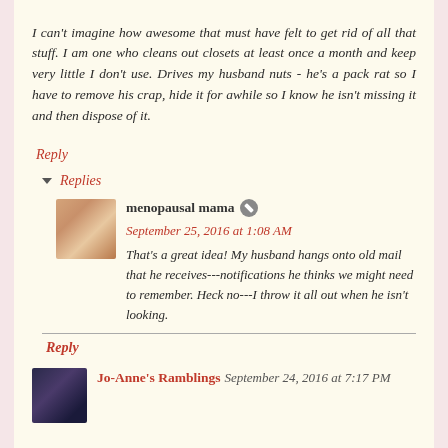I can't imagine how awesome that must have felt to get rid of all that stuff. I am one who cleans out closets at least once a month and keep very little I don't use. Drives my husband nuts - he's a pack rat so I have to remove his crap, hide it for awhile so I know he isn't missing it and then dispose of it.
Reply
▼ Replies
menopausal mama
September 25, 2016 at 1:08 AM
That's a great idea! My husband hangs onto old mail that he receives---notifications he thinks we might need to remember. Heck no---I throw it all out when he isn't looking.
Reply
Jo-Anne's Ramblings
September 24, 2016 at 7:17 PM